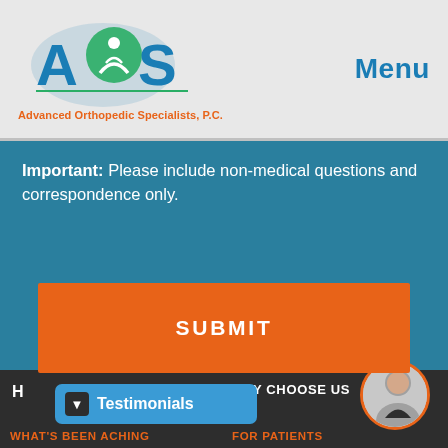[Figure (logo): Advanced Orthopedic Specialists, P.C. logo with AOS letters and tagline]
Menu
Important: Please include non-medical questions and correspondence only.
SUBMIT
H    WHY CHOOSE US    Testimonials    WHAT'S BEEN ACHING    FOR PATIENTS